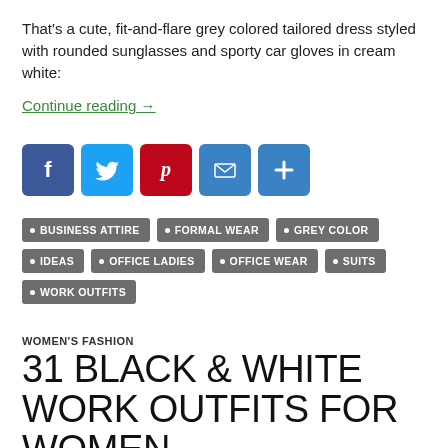That's a cute, fit-and-flare grey colored tailored dress styled with rounded sunglasses and sporty car gloves in cream white:
Continue reading →
[Figure (infographic): Social media share buttons: Facebook (blue), Twitter (light blue), Pinterest (red), Email (blue), More/Plus (blue)]
BUSINESS ATTIRE
FORMAL WEAR
GREY COLOR
IDEAS
OFFICE LADIES
OFFICE WEAR
SUITS
WORK OUTFITS
WOMEN'S FASHION
31 BLACK & WHITE WORK OUTFITS FOR WOMEN
2 COMMENTS